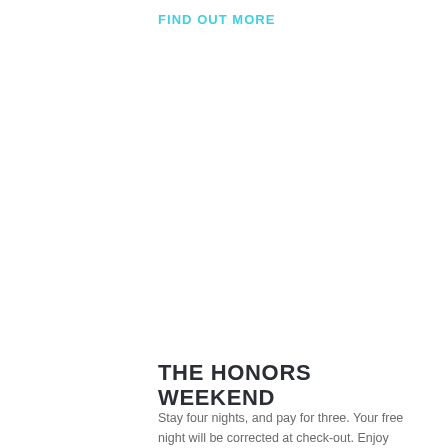FIND OUT MORE
THE HONORS WEEKEND
Stay four nights, and pay for three. Your free night will be corrected at check-out. Enjoy added value as a dining or spa destination on our Friday and